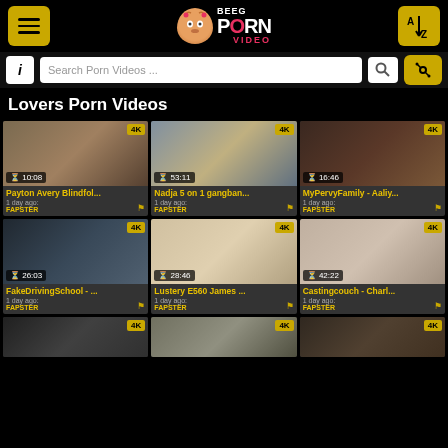BEEG PORN VIDEO — navigation header with menu, logo, and A-Z sort button
Search Porn Videos ...
Lovers Porn Videos
[Figure (screenshot): Video thumbnail 1: Payton Avery Blindfol... 4K, 10:08, 1 day ago, FAPSTER]
[Figure (screenshot): Video thumbnail 2: Nadja 5 on 1 gangban... 4K, 53:11, 1 day ago, FAPSTER]
[Figure (screenshot): Video thumbnail 3: MyPervyFamily - Aaliy... 4K, 16:46, 1 day ago, FAPSTER]
[Figure (screenshot): Video thumbnail 4: FakeDrivingSchool - ... 4K, 26:03, 1 day ago, FAPSTER]
[Figure (screenshot): Video thumbnail 5: Lustery E560 James ... 4K, 28:46, 1 day ago, FAPSTER]
[Figure (screenshot): Video thumbnail 6: Castingcouch - Charl... 4K, 42:22, 1 day ago, FAPSTER]
[Figure (screenshot): Video thumbnail 7: partial, 4K badge visible]
[Figure (screenshot): Video thumbnail 8: partial, 4K badge visible]
[Figure (screenshot): Video thumbnail 9: partial, 4K badge visible]